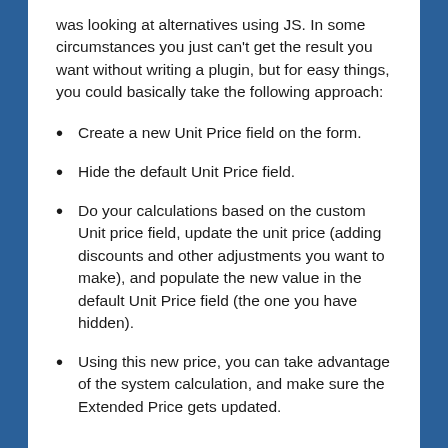was looking at alternatives using JS. In some circumstances you just can't get the result you want without writing a plugin, but for easy things, you could basically take the following approach:
Create a new Unit Price field on the form.
Hide the default Unit Price field.
Do your calculations based on the custom Unit price field, update the unit price (adding discounts and other adjustments you want to make), and populate the new value in the default Unit Price field (the one you have hidden).
Using this new price, you can take advantage of the system calculation, and make sure the Extended Price gets updated.